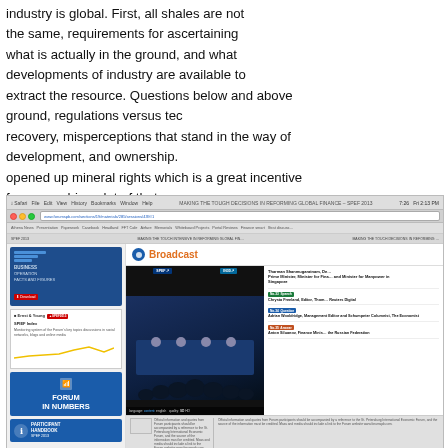industry is global. First, all shales are not the same, requirements for ascertaining what is actually in the ground, and what developments of industry are available to extract the resource. Questions below and above ground, regulations versus technology, recovery, misperceptions that stand in the way of development, and ownership. opened up mineral rights which is a great incentive for ownership, a lot of that w fiscal regime, governments, and public, and what I see in this past year is recog what is going on in the United States.
[Figure (screenshot): Screenshot of a browser window showing the SPIEF 2013 forum website with a Broadcast section featuring a panel discussion video, sidebar with SPIEF Index by Ernst & Young, Forum in Numbers section, and speaker list on the right.]